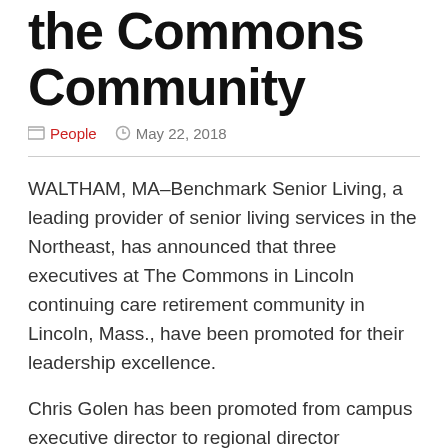the Commons Community
People   May 22, 2018
WALTHAM, MA–Benchmark Senior Living, a leading provider of senior living services in the Northeast, has announced that three executives at The Commons in Lincoln continuing care retirement community in Lincoln, Mass., have been promoted for their leadership excellence.
Chris Golen has been promoted from campus executive director to regional director ofoperations for all of Benchmark's Continuing Care Retirement Communities (CCRCs). In addition, Reynaldo Leblanc has been promoted from associate campus executive director to campus executive director, and Holly